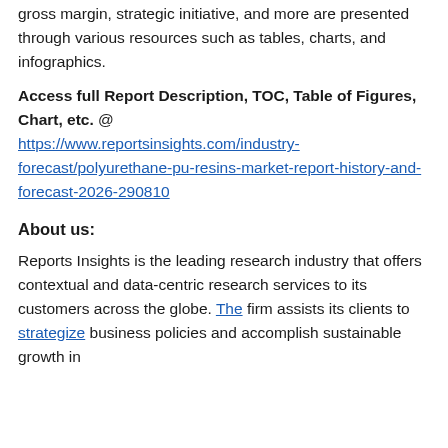gross margin, strategic initiative, and more are presented through various resources such as tables, charts, and infographics.
Access full Report Description, TOC, Table of Figures, Chart, etc. @ https://www.reportsinsights.com/industry-forecast/polyurethane-pu-resins-market-report-history-and-forecast-2026-290810
About us:
Reports Insights is the leading research industry that offers contextual and data-centric research services to its customers across the globe. The firm assists its clients to strategize business policies and accomplish sustainable growth in